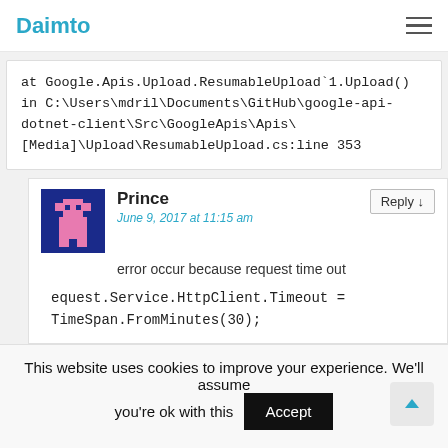Daimto
at Google.Apis.Upload.ResumableUpload`1.Upload() in C:\Users\mdril\Documents\GitHub\google-api-dotnet-client\Src\GoogleApis\Apis\[Media]\Upload\ResumableUpload.cs:line 353
Prince
June 9, 2017 at 11:15 am
error occur because request time out
equest.Service.HttpClient.Timeout = TimeSpan.FromMinutes(30);
This website uses cookies to improve your experience. We'll assume you're ok with this